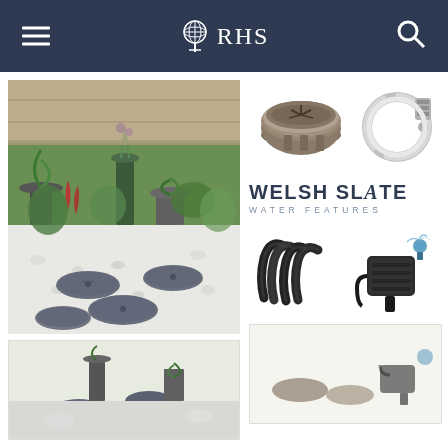RHS
[Figure (photo): Garden scene with slate disc stepping stones on white gravel, surrounded by potted plants and flowers]
[Figure (photo): Welsh Slate Water Features product components: slate disc cover and metal hose clamp]
[Figure (logo): Welsh Slate Water Features logo]
[Figure (photo): Welsh Slate Water Features product components: black hose tubing and water pump]
[Figure (photo): Secondary thumbnail of garden water feature scene]
[Figure (photo): Secondary thumbnail of Welsh Slate Water Features components]